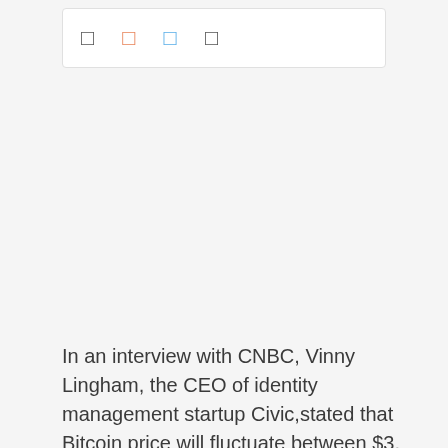[Figure (other): A white rounded box containing four small icon/symbol characters: a plain square character, an orange-colored square character, a blue-colored square character, and a plain square character, arranged in a row.]
In an interview with CNBC, Vinny Lingham, the CEO of identity management startup Civic,stated that Bitcoin price will fluctuate between $3, 000 and $6,